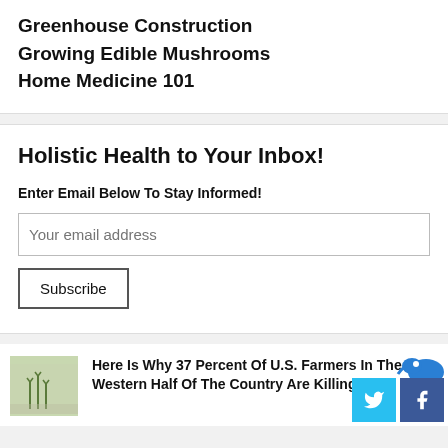Greenhouse Construction
Growing Edible Mushrooms
Home Medicine 101
Holistic Health to Your Inbox!
Enter Email Below To Stay Informed!
Your email address
Subscribe
Here Is Why 37 Percent Of U.S. Farmers In The Western Half Of The Country Are Killing T